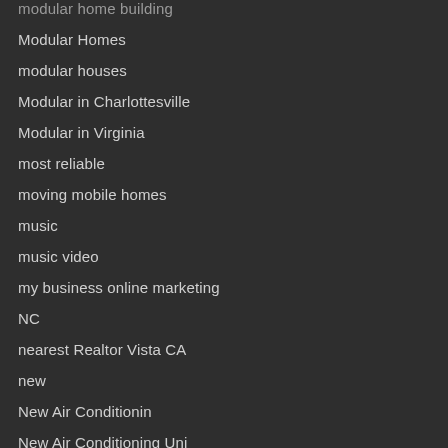modular home building
Modular Homes
modular houses
Modular in Charlottesville
Modular in Virginia
most reliable
moving mobile homes
music
music video
my business online marketing
NC
nearest Realtor Vista CA
new
New Air Conditionin
New Air Conditioning Uni
New Air Conditioning Unit Arcilla
New Air Conditioning Unit L